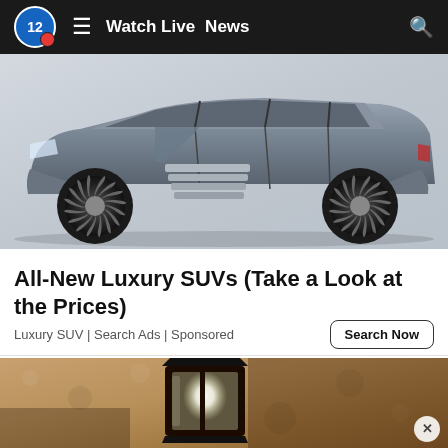12  ≡  Watch Live  News  🔍
[Figure (photo): A silver/grey luxury SUV (Lincoln Navigator style) with distinctive turbine-style wheels, with scissor doors open and entry steps deployed, photographed on a white background.]
All-New Luxury SUVs (Take a Look at the Prices)
Luxury SUV | Search Ads | Sponsored
Search Now
[Figure (photo): Close-up photo of a black outdoor lantern wall sconce mounted on a sandy stucco wall, with a glowing white bulb visible inside the glass enclosure.]